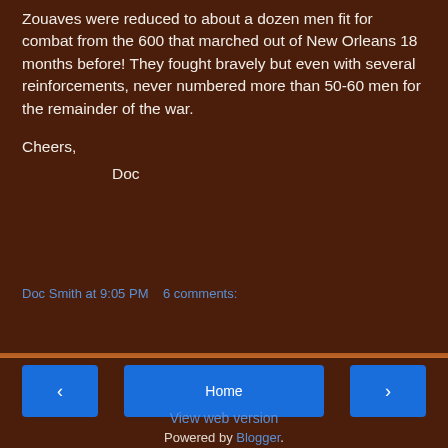Zouaves were reduced to about a dozen men fit for combat from the 600 that marched out of New Orleans 18 months before!  They fought bravely but even with several reinforcements, never numbered more than 50-60 men for the remainder of the war.
Cheers,
        Doc
Doc Smith at 9:05 PM   6 comments:
Share
◄   Home   ►
View web version
Powered by Blogger.